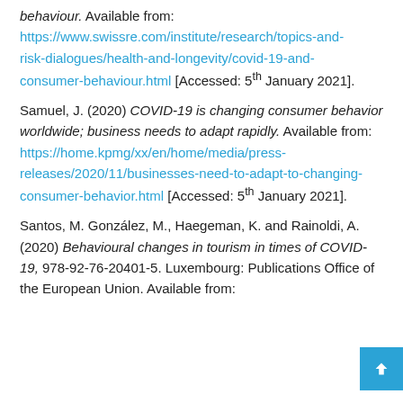behaviour. Available from: https://www.swissre.com/institute/research/topics-and-risk-dialogues/health-and-longevity/covid-19-and-consumer-behaviour.html [Accessed: 5th January 2021].
Samuel, J. (2020) COVID-19 is changing consumer behavior worldwide; business needs to adapt rapidly. Available from: https://home.kpmg/xx/en/home/media/press-releases/2020/11/businesses-need-to-adapt-to-changing-consumer-behavior.html [Accessed: 5th January 2021].
Santos, M. González, M., Haegeman, K. and Rainoldi, A. (2020) Behavioural changes in tourism in times of COVID-19, 978-92-76-20401-5. Luxembourg: Publications Office of the European Union. Available from: